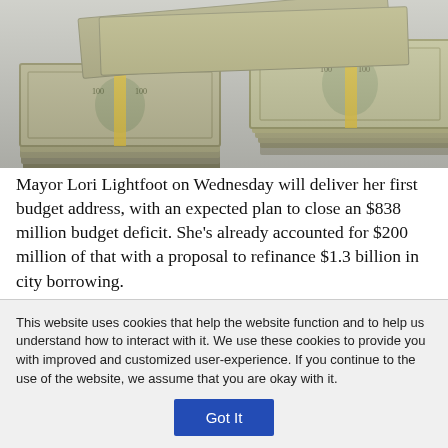[Figure (photo): Stack of bundled US dollar bills (cash money) arranged in a pile on a white background.]
Mayor Lori Lightfoot on Wednesday will deliver her first budget address, with an expected plan to close an $838 million budget deficit. She's already accounted for $200 million of that with a proposal to refinance $1.3 billion in city borrowing.
Read More >>
This website uses cookies that help the website function and to help us understand how to interact with it. We use these cookies to provide you with improved and customized user-experience. If you continue to the use of the website, we assume that you are okay with it.